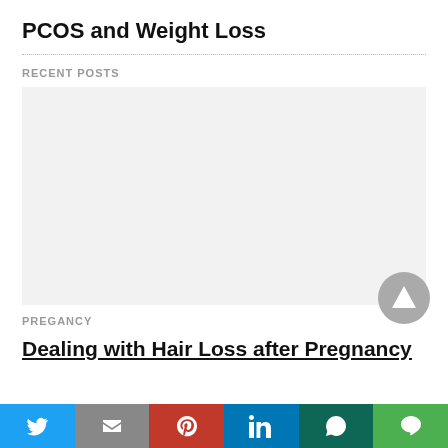PCOS and Weight Loss
RECENT POSTS
[Figure (other): Advertisement or image placeholder, light gray rectangle]
PREGANCY
Dealing with Hair Loss after Pregnancy
[Figure (other): Social share bar with Twitter, Gmail, Pinterest, LinkedIn, WhatsApp, Line buttons]